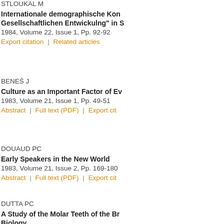STLOUKAL M
Internationale demographische Kon Gesellschaftlichen Entwickulng" in S
1984, Volume 22, Issue 1, Pp. 92-92
Export citation | Related articles
BENEŠ J
Culture as an Important Factor of Ev
1983, Volume 21, Issue 1, Pp. 49-51
Abstract | Full text (PDF) | Export cit
DOUAUD PC
Early Speakers in the New World
1983, Volume 21, Issue 2, Pp. 169-180
Abstract | Full text (PDF) | Export cit
DUTTA PC
A Study of the Molar Teeth of the Br Biology